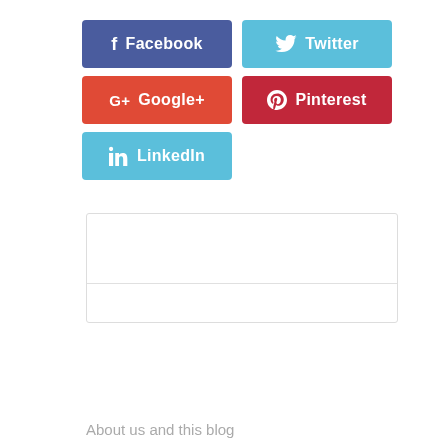[Figure (infographic): Social media share buttons: Facebook (dark blue), Twitter (light blue), Google+ (red-orange), Pinterest (dark red), LinkedIn (light blue)]
Amr Afifi
About us and this blog